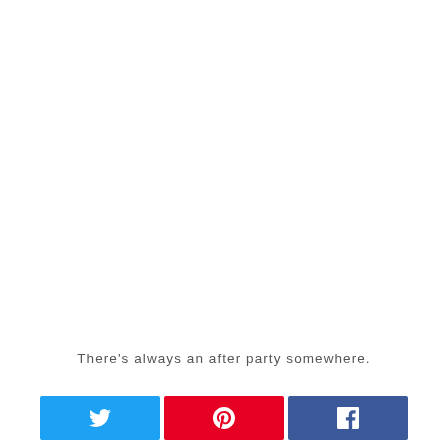There’s always an after party somewhere.
[Figure (other): Twitter share button (blue), Pinterest share button (red), Facebook share button (blue) — three social media sharing buttons in a row]